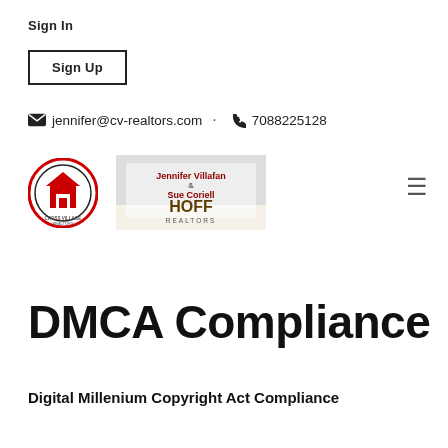Sign In
Sign Up
jennifer@cv-realtors.com · 7088225128
[Figure (logo): CV Realtors circular logo with house icon and Jennifer Villafan & Sue Coriell HOFF Realtors banner]
DMCA Compliance
Digital Millenium Copyright Act Compliance